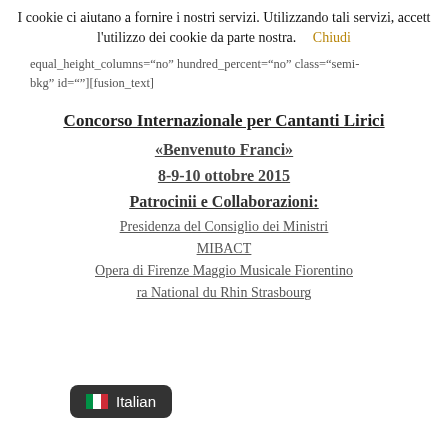I cookie ci aiutano a fornire i nostri servizi. Utilizzando tali servizi, accett l'utilizzo dei cookie da parte nostra.   Chiudi
equal_height_columns="no" hundred_percent="no" class="semi-bkg" id=""][fusion_text]
Concorso Internazionale per Cantanti Lirici
«Benvenuto Franci»
8-9-10 ottobre 2015
Patrocinii e Collaborazioni:
Presidenza del Consiglio dei Ministri
MIBACT
Opera di Firenze Maggio Musicale Fiorentino
Italian
ra National du Rhin Strasbourg